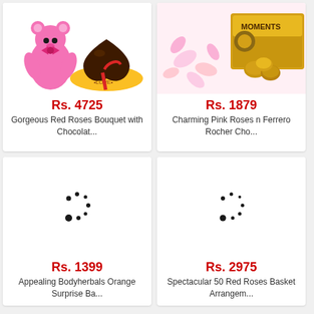[Figure (photo): Pink teddy bear and chocolate heart cake on a yellow plate with 'LOVE' inscription and red ribbon]
Rs. 4725
Gorgeous Red Roses Bouquet with Chocolat...
[Figure (photo): Pink roses petals and Ferrero Rocher Moments chocolate box]
Rs. 1879
Charming Pink Roses n Ferrero Rocher Cho...
[Figure (photo): Loading spinner (dots arranged in circular arc) — product image loading]
Rs. 1399
Appealing Bodyherbals Orange Surprise Ba...
[Figure (photo): Loading spinner (dots arranged in circular arc) — product image loading]
Rs. 2975
Spectacular 50 Red Roses Basket Arrangem...